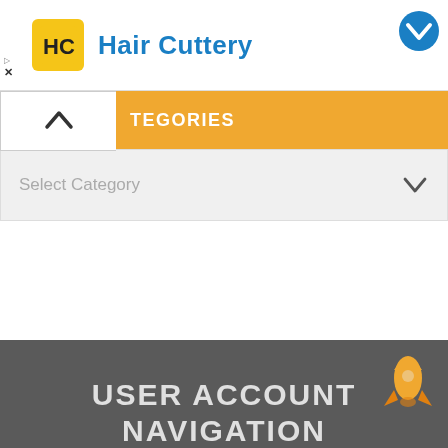Hair Cuttery
CATEGORIES
Select Category
USER ACCOUNT NAVIGATION